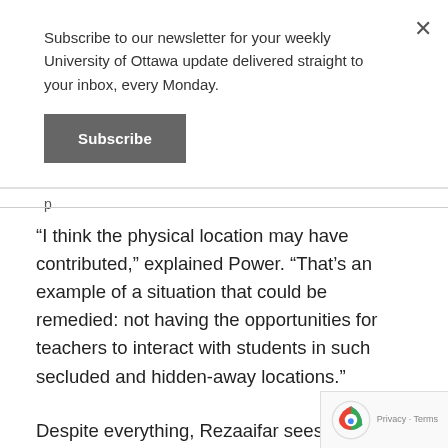Subscribe to our newsletter for your weekly University of Ottawa update delivered straight to your inbox, every Monday.
Subscribe
“I think the physical location may have contributed,” explained Power. “That’s an example of a situation that could be remedied: not having the opportunities for teachers to interact with students in such secluded and hidden-away locations.”
Despite everything, Rezaaifar sees a way for this case to move the discussion forward in all schools.
“I like to think that because Bell is getting so much attention about it, we’ll start recognizing the issue,” she